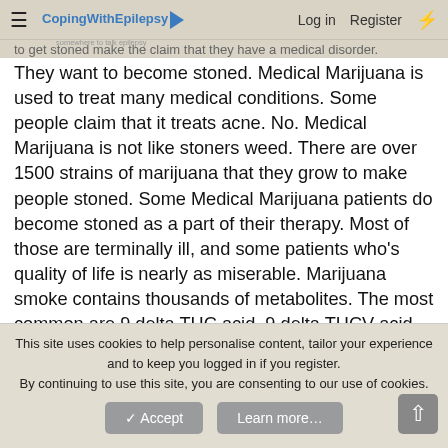CopingWithEpilepsy | Log in | Register
to get stoned make the claim that they have a medical disorder. They want to become stoned. Medical Marijuana is used to treat many medical conditions. Some people claim that it treats acne. No. Medical Marijuana is not like stoners weed. There are over 1500 strains of marijuana that they grow to make people stoned. Some Medical Marijuana patients do become stoned as a part of their therapy. Most of those are terminally ill, and some patients who's quality of life is nearly as miserable. Marijuana smoke contains thousands of metabolites. The most common are 9 delta THC acid, 9 delta THCV acid, CBD, CBG, and a metabolite of THC, CBN. CBD is a natural metabolite. It is a neuroprotectant, an anticonvulsant, is anti-cancer, anti-inflammatory, and an anti psychotic. Because it is an anti-psychotic, it lowers the high from THC, THCV, and CBN. THC and THCV both cause euphoria. The two togeather cause a
This site uses cookies to help personalise content, tailor your experience and to keep you logged in if you register. By continuing to use this site, you are consenting to our use of cookies.